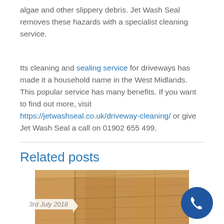algae and other slippery debris. Jet Wash Seal removes these hazards with a specialist cleaning service.
Its cleaning and sealing service for driveways has made it a household name in the West Midlands. This popular service has many benefits. If you want to find out more, visit https://jetwashseal.co.uk/driveway-cleaning/ or give Jet Wash Seal a call on 01902 655 499.
Related posts
3rd July 2018
[Figure (photo): Photograph of wooden structures, partially visible at the bottom of the page. A phone call button overlaid in bottom right.]